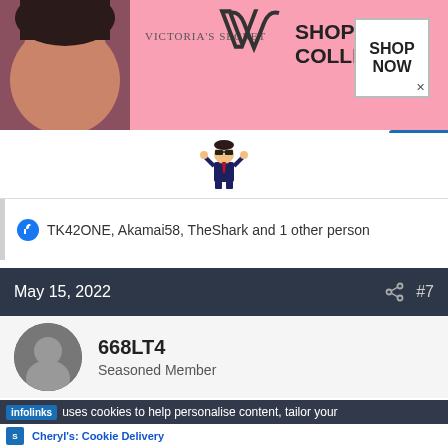[Figure (photo): Victoria's Secret advertisement banner with model, VS logo, 'SHOP THE COLLECTION' text, and 'SHOP NOW' button]
[Figure (illustration): Cartoon character in suit with sunglasses raising hands, with infolinks badge]
TK42ONE, Akamai58, TheShark and 1 other person
May 15, 2022  #7
[Figure (photo): User avatar for 668LT4]
668LT4
Seasoned Member
infolinks  uses cookies to help personalise content, tailor your
[Figure (screenshot): Cheryl's Cookie Delivery ad: gourmet brownies, cakes, cookies and cookie gift baskets, www.cheryls.com]